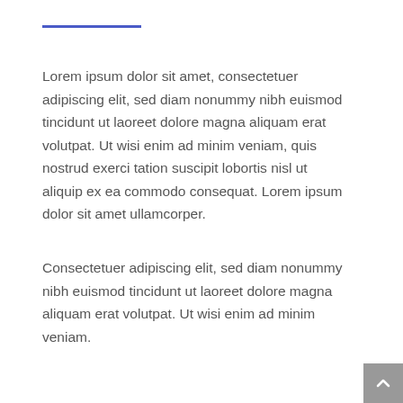Lorem ipsum dolor sit amet, consectetuer adipiscing elit, sed diam nonummy nibh euismod tincidunt ut laoreet dolore magna aliquam erat volutpat. Ut wisi enim ad minim veniam, quis nostrud exerci tation suscipit lobortis nisl ut aliquip ex ea commodo consequat. Lorem ipsum dolor sit amet ullamcorper.
Consectetuer adipiscing elit, sed diam nonummy nibh euismod tincidunt ut laoreet dolore magna aliquam erat volutpat. Ut wisi enim ad minim veniam.